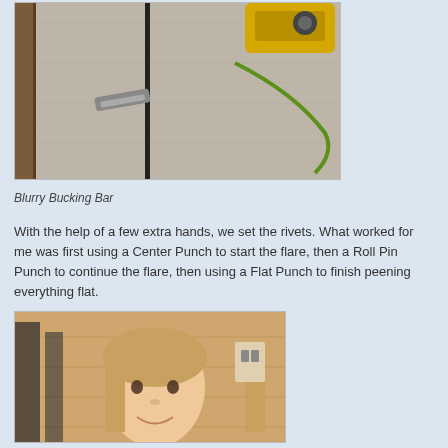[Figure (photo): A blurry photo showing a bucking bar tool on a carpeted floor, with what appears to be a power tool (yellow) in the background and a green cable/wire visible. A wooden rail or edge is visible on the left side.]
Blurry Bucking Bar
With the help of a few extra hands, we set the rivets. What worked for me was first using a Center Punch to start the flare, then a Roll Pin Punch to continue the flare, then using a Flat Punch to finish peening everything flat.
[Figure (photo): A young girl with long light brown hair smiling at the camera, appearing to be helping with the riveting work. She is seated in what looks like an aircraft interior with wooden paneling visible behind her.]